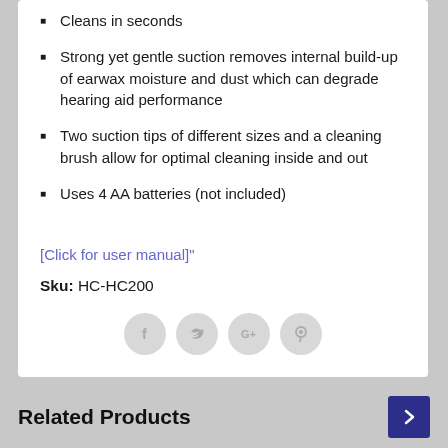Cleans in seconds
Strong yet gentle suction removes internal build-up of earwax moisture and dust which can degrade hearing aid performance
Two suction tips of different sizes and a cleaning brush allow for optimal cleaning inside and out
Uses 4 AA batteries (not included)
[Click for user manual]"
Sku: HC-HC200
[Figure (infographic): Social media sharing icons: Facebook, Twitter, Google+, Pinterest — displayed as light gray circular buttons]
Related Products